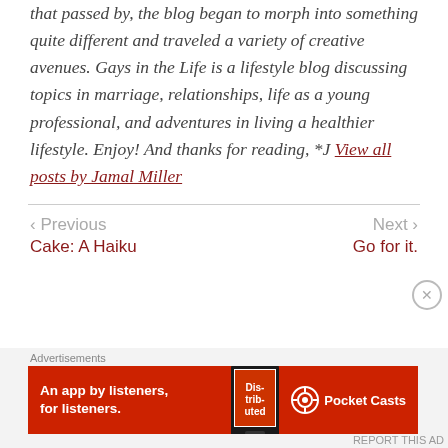that passed by, the blog began to morph into something quite different and traveled a variety of creative avenues. Gays in the Life is a lifestyle blog discussing topics in marriage, relationships, life as a young professional, and adventures in living a healthier lifestyle. Enjoy! And thanks for reading, *J View all posts by Jamal Miller
< Previous
Cake: A Haiku
Next >
Go for it.
Advertisements
[Figure (screenshot): Pocket Casts advertisement banner: red background with text 'An app by listeners, for listeners.' and Pocket Casts logo on right, phone image in center]